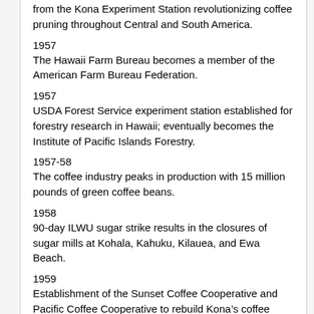from the Kona Experiment Station revolutionizing coffee pruning throughout Central and South America.
1957
The Hawaii Farm Bureau becomes a member of the American Farm Bureau Federation.
1957
USDA Forest Service experiment station established for forestry research in Hawaii; eventually becomes the Institute of Pacific Islands Forestry.
1957-58
The coffee industry peaks in production with 15 million pounds of green coffee beans.
1958
90-day ILWU sugar strike results in the closures of sugar mills at Kohala, Kahuku, Kilauea, and Ewa Beach.
1959
Establishment of the Sunset Coffee Cooperative and Pacific Coffee Cooperative to rebuild Kona’s coffee industry.
1959
With statehood, federal funds became available for the development and growth of Hawaii’s agricultural industries with funding for programs such as farm credit.